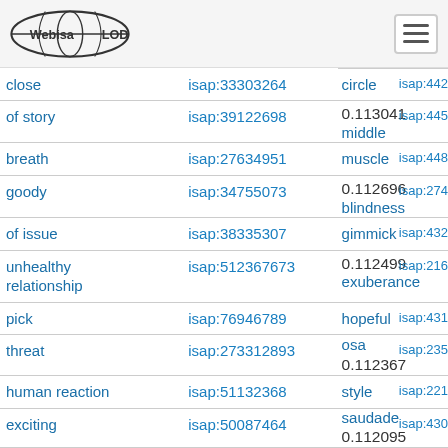Web isa LOD navigation menu
| Term | ISAP ID | Score / Term2 | ISAP ID2 |
| --- | --- | --- | --- |
| close | isap:33303264 | circle | isap:44231890 |
| of story | isap:39122698 | 0.113041 middle | isap:44536125 |
| breath | isap:27634951 | muscle | isap:44870094 |
| goody | isap:34755073 | 0.112696 blindness | isap:27479058 |
| of issue | isap:38335307 | gimmick | isap:43255349 |
| unhealthy relationship | isap:512367673 | 0.112499 exuberance | isap:21692547 |
| pick | isap:76946789 | hopeful | isap:43120545 |
| threat | isap:273312893 | osa 0.112367 | isap:23583875 |
| human reaction | isap:51132368 | style | isap:22195747 |
| exciting | isap:50087464 | saudade 0.112095 | isap:43081123 |
| meaning | isap:42944434 | scotland | isap:34494216 |